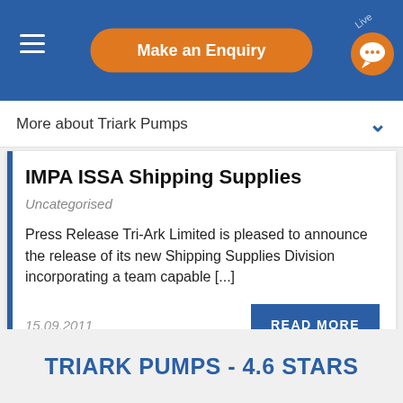Make an Enquiry
More about Triark Pumps
IMPA ISSA Shipping Supplies
Uncategorised
Press Release Tri-Ark Limited is pleased to announce the release of its new Shipping Supplies Division incorporating a team capable [...]
15.09.2011
READ MORE
TRIARK PUMPS - 4.6 STARS